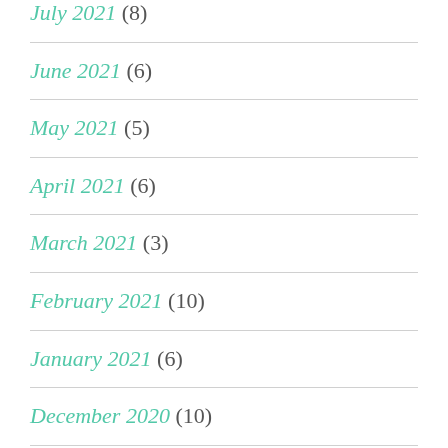July 2021 (8)
June 2021 (6)
May 2021 (5)
April 2021 (6)
March 2021 (3)
February 2021 (10)
January 2021 (6)
December 2020 (10)
November 2020 (6)